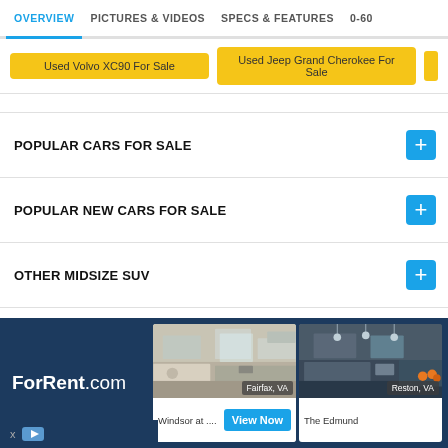OVERVIEW | PICTURES & VIDEOS | SPECS & FEATURES | 0-60
Used Volvo XC90 For Sale | Used Jeep Grand Cherokee For Sale
POPULAR CARS FOR SALE
POPULAR NEW CARS FOR SALE
OTHER MIDSIZE SUV
UPCOMING CARS
OTHER MODELS OF BMW
[Figure (screenshot): ForRent.com advertisement banner showing two apartment kitchen photos. Left card: Windsor at ... with View Now button, location Fairfax VA. Right card: The Edmund, location Reston VA.]